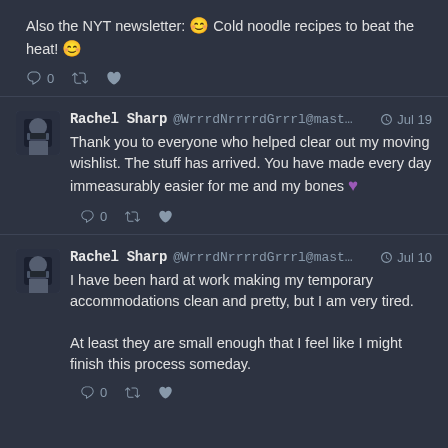Also the NYT newsletter: 😊 Cold noodle recipes to beat the heat! 😊
Rachel Sharp @WrrrdNrrrrdGrrrl@mast... Jul 19
Thank you to everyone who helped clear out my moving wishlist. The stuff has arrived. You have made every day immeasurably easier for me and my bones 💜
Rachel Sharp @WrrrdNrrrrdGrrrl@mast... Jul 10
I have been hard at work making my temporary accommodations clean and pretty, but I am very tired.

At least they are small enough that I feel like I might finish this process someday.